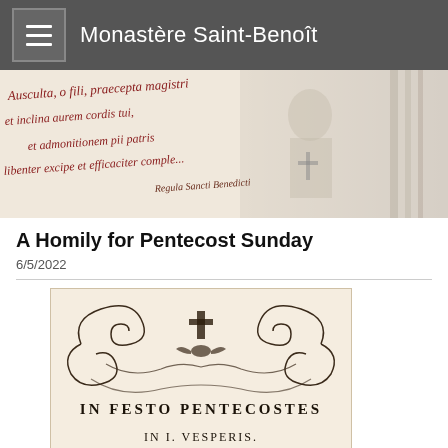Monastère Saint-Benoît
[Figure (illustration): Banner image with Latin calligraphic text in red: 'Ausculta, o fili, praecepta magistri et inclina aurem cordis tui, et admonitionem pii patris libenter excipe et efficaciter comple... Regula Sancti Benedicti', alongside a faded engraving of a monk or bishop figure holding a cross shield, with ornate architectural columns on the right.]
A Homily for Pentecost Sunday
6/5/2022
[Figure (illustration): Ornate black-and-white decorative header illustration with a central dove (Holy Spirit symbol) surrounded by elaborate baroque scrollwork and foliage. Below the decoration, bold serif text reads 'IN FESTO PENTECOSTES' and beneath that 'IN I. VESPERIS.']